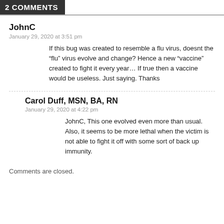2 COMMENTS
JohnC
January 29, 2020 at 3:51 pm
If this bug was created to resemble a flu virus, doesnt the “flu” virus evolve and change? Hence a new “vaccine” created to fight it every year… If true then a vaccine would be useless. Just saying. Thanks
Carol Duff, MSN, BA, RN
January 29, 2020 at 4:22 pm
JohnC, This one evolved even more than usual. Also, it seems to be more lethal when the victim is not able to fight it off with some sort of back up immunity.
Comments are closed.